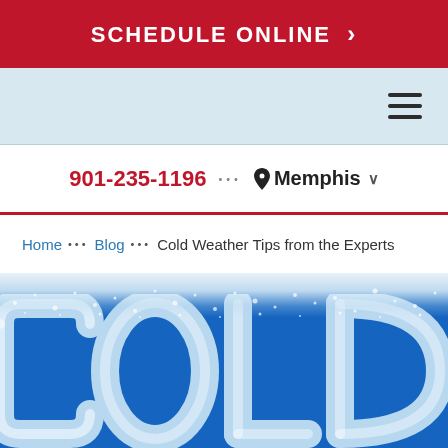SCHEDULE ONLINE >
hamburger menu icon
901-235-1196 ••• Memphis
Home ••• Blog ••• Cold Weather Tips from the Experts
[Figure (photo): Hero image with large ice-style letters spelling COLD on a blue background with snow/frost effect at top]